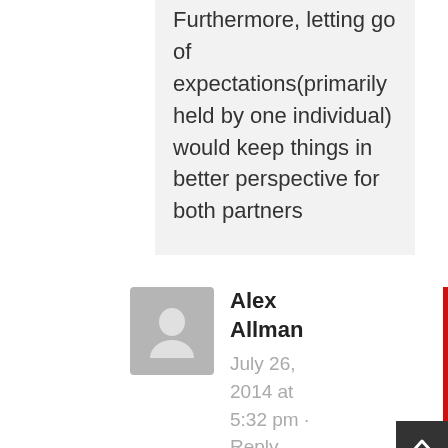Furthermore, letting go of expectations(primarily held by one individual) would keep things in better perspective for both partners
Alex Allman
July 26, 2014 at 5:32 pm · Reply